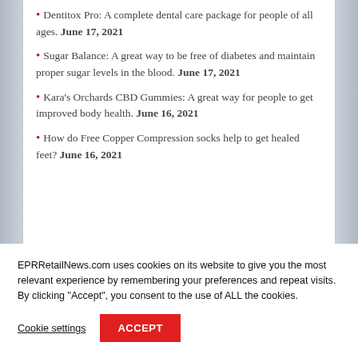Dentitox Pro: A complete dental care package for people of all ages. June 17, 2021
Sugar Balance: A great way to be free of diabetes and maintain proper sugar levels in the blood. June 17, 2021
Kara's Orchards CBD Gummies: A great way for people to get improved body health. June 16, 2021
How do Free Copper Compression socks help to get healed feet? June 16, 2021
EPRRetailNews.com uses cookies on its website to give you the most relevant experience by remembering your preferences and repeat visits. By clicking "Accept", you consent to the use of ALL the cookies.
Cookie settings | ACCEPT